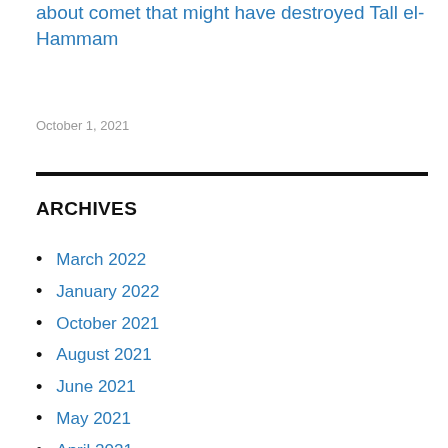about comet that might have destroyed Tall el-Hammam
October 1, 2021
ARCHIVES
March 2022
January 2022
October 2021
August 2021
June 2021
May 2021
April 2021
February 2021
January 2021